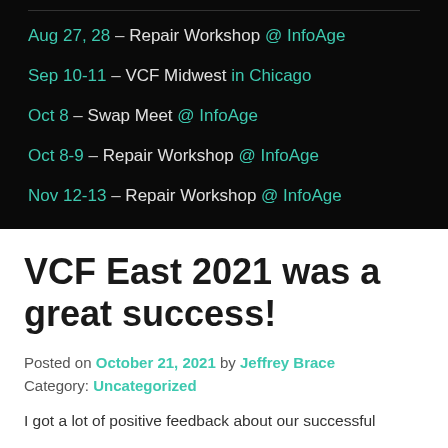Aug 27, 28 – Repair Workshop @ InfoAge
Sep 10-11 – VCF Midwest in Chicago
Oct 8 – Swap Meet @ InfoAge
Oct 8-9 – Repair Workshop @ InfoAge
Nov 12-13 – Repair Workshop @ InfoAge
VCF East 2021 was a great success!
Posted on October 21, 2021 by Jeffrey Brace
Category: Uncategorized
I got a lot of positive feedback about our successful